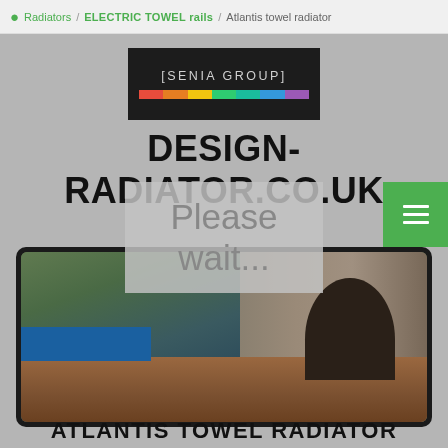Radiators / ELECTRIC TOWEL rails / Atlantis towel radiator
[Figure (logo): Senia Group logo — dark rectangle with [SENIA GROUP] text and multicolor bar]
DESIGN-RADIATOR.CO.UK
Please wait...
[Figure (photo): Interior photo showing a glass-covered pool area with deck chairs, wooden decking, and stone wall on the right]
ATLANTIS TOWEL RADIATOR